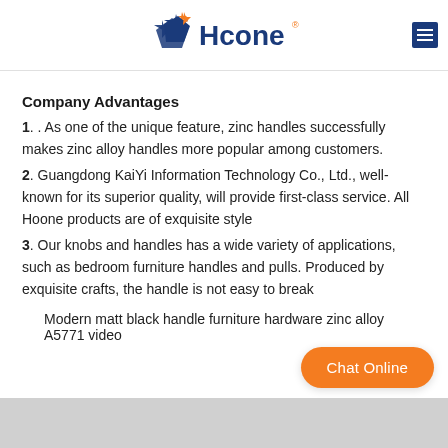[Figure (logo): Hcone logo with blue and orange star graphic on the left and 'Hcone' text in blue with orange registered trademark symbol]
Company Advantages
1. . As one of the unique feature, zinc handles successfully makes zinc alloy handles more popular among customers.
2. Guangdong KaiYi Information Technology Co., Ltd., well-known for its superior quality, will provide first-class service. All Hoone products are of exquisite style
3. Our knobs and handles has a wide variety of applications, such as bedroom furniture handles and pulls. Produced by exquisite crafts, the handle is not easy to break
Modern matt black handle furniture hardware zinc alloy A5771 video